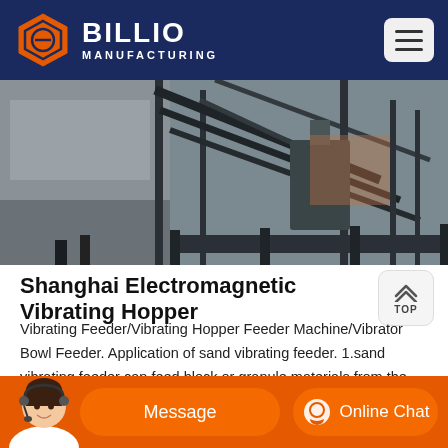BILLIO MANUFACTURING
[Figure (photo): Industrial facility showing large steel scaffolding, conveyor structures and manufacturing equipment at a construction or mining site.]
Shanghai Electromagnetic Vibrating Hopper
Vibrating Feeder/Vibrating Hopper Feeder Machine/Vibrator Bowl Feeder. Application of sand vibrating feeder. 1.sand vibrating feeder can feed block or granule materials from the material storage to charging device evenly and continuously can realize even feeding for crushers in sandstone production line and make rough screening for materials.
[Figure (photo): Customer service representative avatar at bottom left corner of chat bar.]